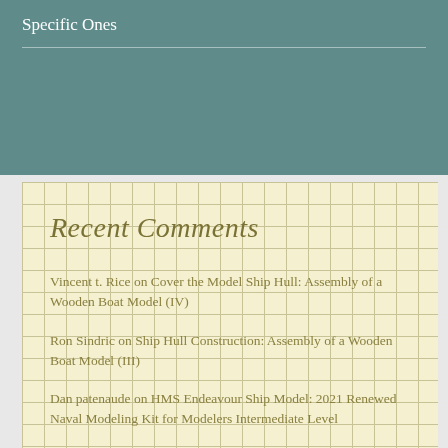Specific Ones
Recent Comments
Vincent t. Rice on Cover the Model Ship Hull: Assembly of a Wooden Boat Model (IV)
Ron Sindric on Ship Hull Construction: Assembly of a Wooden Boat Model (III)
Dan patenaude on HMS Endeavour Ship Model: 2021 Renewed Naval Modeling Kit for Modelers Intermediate Level
Neil Abrahams on Ship Model Rigging: Assembly of a Wooden Boat Model (V)